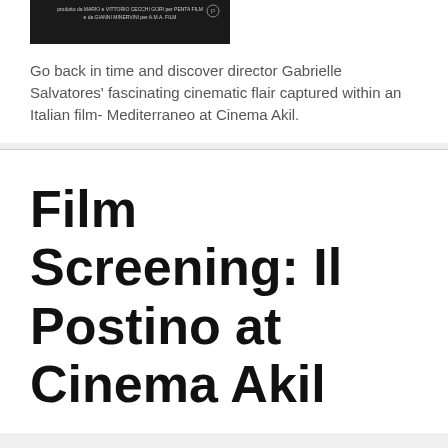[Figure (photo): Movie poster with dark background and small white text credits for an Italian film, with a small circular logo/icon in the top right]
Go back in time and discover director Gabrielle Salvatores' fascinating cinematic flair captured within an Italian film- Mediterraneo at Cinema Akil.
Film Screening: Il Postino at Cinema Akil